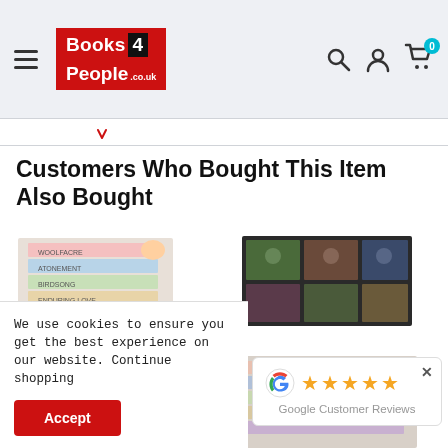[Figure (logo): Books4People.co.uk logo with red and black background]
[Figure (infographic): Header navigation icons: search, account, cart with 0 badge]
Customers Who Bought This Item Also Bought
[Figure (photo): Stack of books - left product]
[Figure (photo): Stack of books in dark box set - right product]
[Figure (photo): Stack of books - bottom left product, partially visible]
[Figure (photo): Stack of books - bottom right product, partially visible]
We use cookies to ensure you get the best experience on our website. Continue shopping
Accept
[Figure (infographic): Google Customer Reviews widget with 5 gold stars and Google G logo]